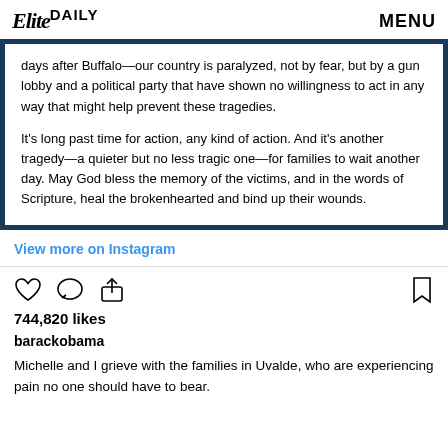Elite DAILY  MENU
days after Buffalo—our country is paralyzed, not by fear, but by a gun lobby and a political party that have shown no willingness to act in any way that might help prevent these tragedies.

It's long past time for action, any kind of action. And it's another tragedy—a quieter but no less tragic one—for families to wait another day. May God bless the memory of the victims, and in the words of Scripture, heal the brokenhearted and bind up their wounds.
View more on Instagram
744,820 likes
barackobama
Michelle and I grieve with the families in Uvalde, who are experiencing pain no one should have to bear.